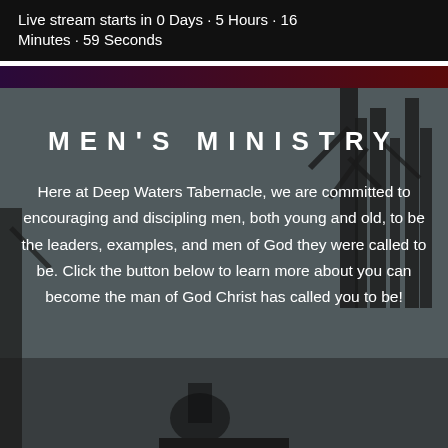Live stream starts in 0 Days · 5 Hours · 16 Minutes · 59 Seconds
MEN'S MINISTRY
Here at Deep Waters Tabernacle, we are committed to encouraging and discipling men, both young and old, to be the leaders, examples, and men of God they were called to be. Click the button below to learn more about you can become the man of God Christ has called you to be!